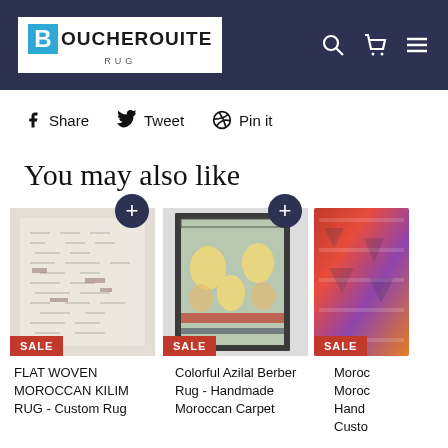BOUCHEROUITE RUG
Share  Tweet  Pin it
You may also like
[Figure (photo): Product card: FLAT WOVEN MOROCCAN KILIM RUG - Custom Rug with SALE badge]
FLAT WOVEN MOROCCAN KILIM RUG - Custom Rug
[Figure (photo): Product card: Colorful Azilal Berber Rug - Handmade Moroccan Carpet with SALE badge]
Colorful Azilal Berber Rug - Handmade Moroccan Carpet
[Figure (photo): Product card: Moroccan Moroccan Handmade Custom with SALE badge (partially visible)]
Moroc Moroc Hand Custo